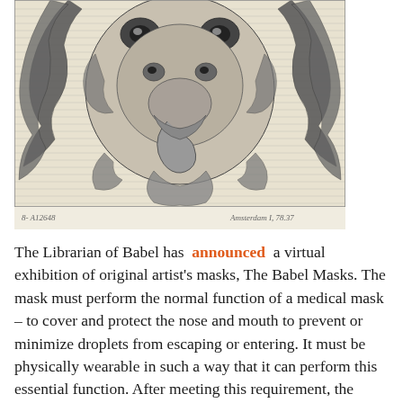[Figure (illustration): A detailed engraving/print depicting a fantastical mask featuring an elephant's head with a trunk at the center, surrounded by swirling hair or tentacle-like forms, owl-like eyes at top, and decorative baroque scrollwork. Below the image are handwritten-style annotations: '8- A12648' on the left and 'Amsterdam I, 78.37' on the right.]
The Librarian of Babel has announced a virtual exhibition of original artist's masks, The Babel Masks. The mask must perform the normal function of a medical mask – to cover and protect the nose and mouth to prevent or minimize droplets from escaping or entering. It must be physically wearable in such a way that it can perform this essential function. After meeting this requirement, the mask